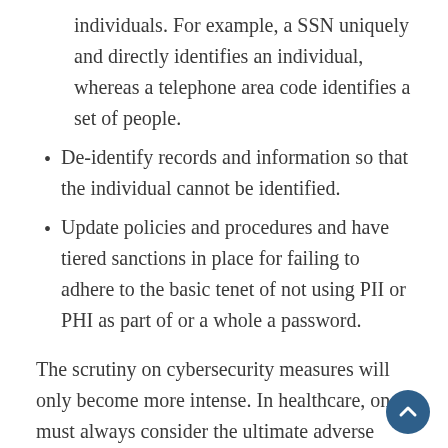individuals. For example, a SSN uniquely and directly identifies an individual, whereas a telephone area code identifies a set of people.
De-identify records and information so that the individual cannot be identified.
Update policies and procedures and have tiered sanctions in place for failing to adhere to the basic tenet of not using PII or PHI as part of or a whole a password.
The scrutiny on cybersecurity measures will only become more intense. In healthcare, one must always consider the ultimate adverse patient outcome – death. As cybercriminals ratchet up their tactics on hospitals and other providers, prevention and detection are